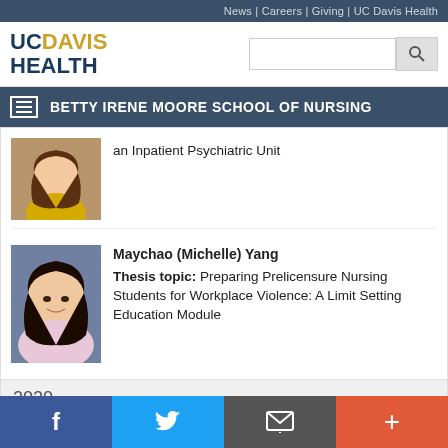News | Careers | Giving | UC Davis Health
[Figure (logo): UC Davis Health logo with gold DAVIS text and navy UC and HEALTH text]
BETTY IRENE MOORE SCHOOL OF NURSING
an Inpatient Psychiatric Unit
Maychao (Michelle) Yang
Thesis topic: Preparing Prelicensure Nursing Students for Workplace Violence: A Limit Setting Education Module
2020
f | Twitter | Email | +